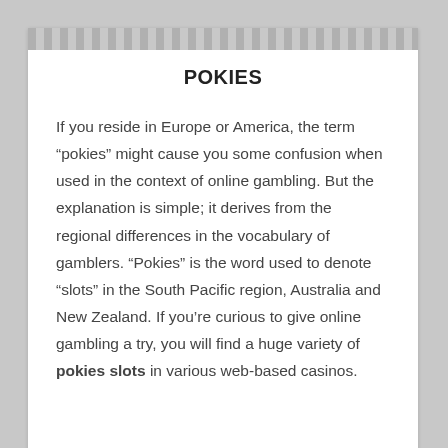POKIES
If you reside in Europe or America, the term “pokies” might cause you some confusion when used in the context of online gambling. But the explanation is simple; it derives from the regional differences in the vocabulary of gamblers. “Pokies” is the word used to denote “slots” in the South Pacific region, Australia and New Zealand. If you’re curious to give online gambling a try, you will find a huge variety of pokies slots in various web-based casinos.